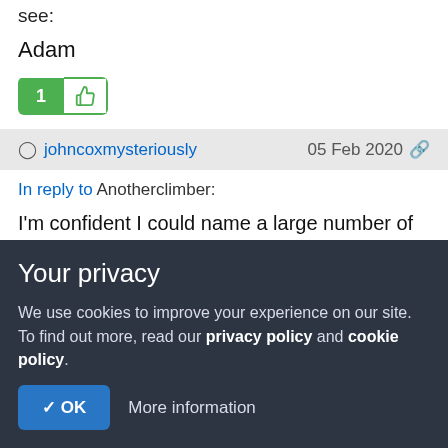see:
Adam
[Figure (other): Like button with count 1 and thumbs up icon]
johncoxmysteriously   05 Feb 2020
In reply to Anotherclimber:
I'm confident I could name a large number of new routers who have behaved a great deal better than GG, certainly.
Your privacy
We use cookies to improve your experience on our site. To find out more, read our privacy policy and cookie policy.
✓ OK   More information